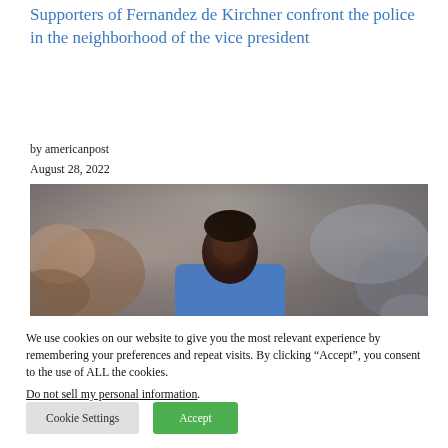Supporters of Fernandez de Kirchner confront the police in the neighborhood of the vice president
by americanpost
August 28, 2022
[Figure (photo): A Black man (athlete or public figure) in a blue jersey, with a blurred crowd in the background]
We use cookies on our website to give you the most relevant experience by remembering your preferences and repeat visits. By clicking “Accept”, you consent to the use of ALL the cookies.
Do not sell my personal information.